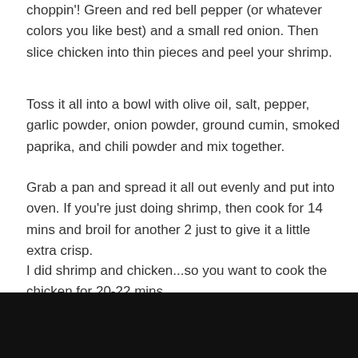choppin'! Green and red bell pepper (or whatever colors you like best) and a small red onion. Then slice chicken into thin pieces and peel your shrimp.
Toss it all into a bowl with olive oil, salt, pepper, garlic powder, onion powder, ground cumin, smoked paprika, and chili powder and mix together.
Grab a pan and spread it all out evenly and put into oven. If you're just doing shrimp, then cook for 14 mins and broil for another 2 just to give it a little extra crisp.
I did shrimp and chicken...so you want to cook the chicken for 20-22 mins.
Squeeze fresh lime juice over everything and heat up your tortillas